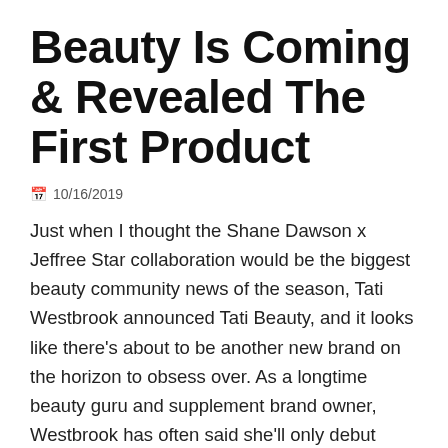Beauty Is Coming & Revealed The First Product
📅 10/16/2019
Just when I thought the Shane Dawson x Jeffree Star collaboration would be the biggest beauty community news of the season, Tati Westbrook announced Tati Beauty, and it looks like there's about to be another new brand on the horizon to obsess over. As a longtime beauty guru and supplement brand owner, Westbrook has often said she'll only debut